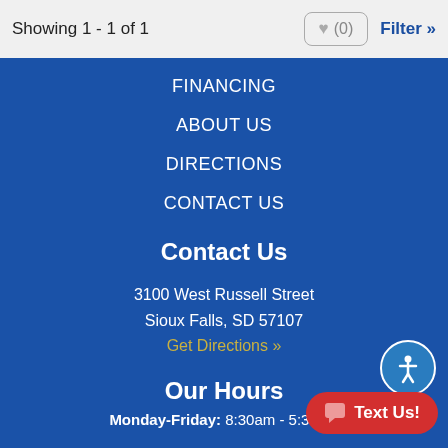Showing 1 - 1 of 1
FINANCING
ABOUT US
DIRECTIONS
CONTACT US
Contact Us
3100 West Russell Street
Sioux Falls, SD 57107
Get Directions »
Our Hours
Monday-Friday: 8:30am - 5:30pm